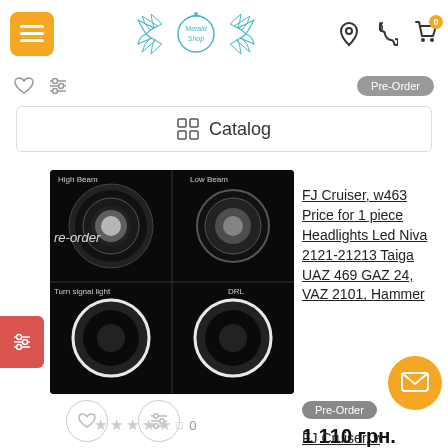[Figure (screenshot): E-commerce website header with hamburger menu button (orange), Merald Shop logo (teal winged design), location pin icon, phone icon, and cart icon with badge showing 0]
[Figure (screenshot): Sub-navigation bar with heart icon, filter/sliders icon, and Pre-Order button]
Catalog
[Figure (photo): Black and white product photo of round LED headlights showing High Beam, Low Beam, Turn signal light, and DRL modes with re-order text overlay]
FJ Cruiser, w463 Price for 1 piece Headlights Led Niva 2121-21213 Taiga UAZ 469 GAZ 24, VAZ 2101, Hammer
[Figure (screenshot): Pre-Order badge/tag in gray rounded rectangle]
1 110 грн.
FJ Cruiser, w463, Price